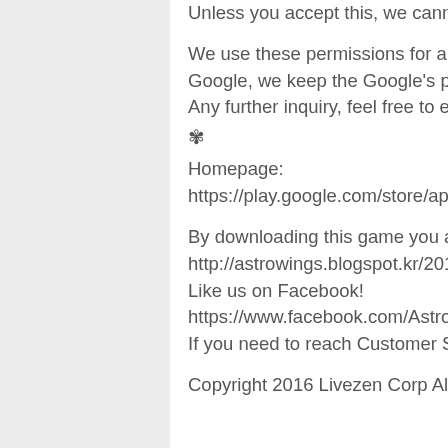Unless you accept this, we cannot know who you are.
We use these permissions for above use only. As one of Top Developer, titled by Google, we keep the Google’s policy sincerely.
Any further inquiry, feel free to email us.
❖
Homepage:
https://play.google.com/store/apps/dev?id=6977835865753931974
By downloading this game you are agreeing to our terms of service;
http://astrowings.blogspot.kr/2016/02/terms-of-service.html
Like us on Facebook!
https://www.facebook.com/AstrowingsBlitz
If you need to reach Customer Support, please email us at livezencs@gmail.com
Copyright 2016 Livezen Corp All Rights